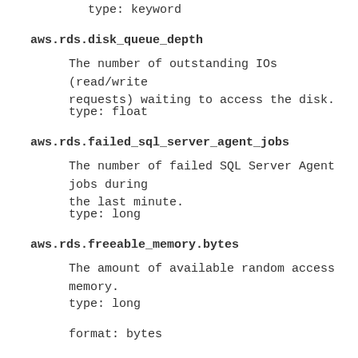type: keyword
aws.rds.disk_queue_depth
The number of outstanding IOs (read/write requests) waiting to access the disk.
type: float
aws.rds.failed_sql_server_agent_jobs
The number of failed SQL Server Agent jobs during the last minute.
type: long
aws.rds.freeable_memory.bytes
The amount of available random access memory.
type: long
format: bytes